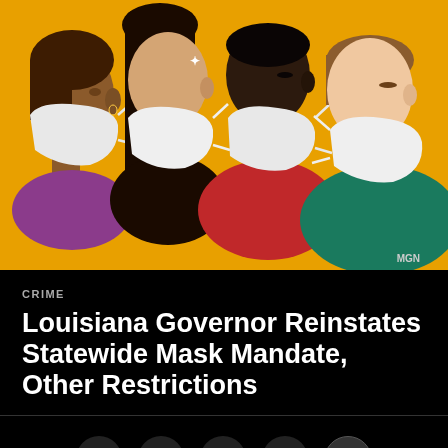[Figure (illustration): Illustration of four people wearing white face masks, shown in profile facing left, against an orange/amber background. People have different skin tones and hair. MGN watermark in bottom right corner.]
CRIME
Louisiana Governor Reinstates Statewide Mask Mandate, Other Restrictions
[Figure (infographic): Row of five circular dark social sharing buttons: Facebook (f), Twitter (bird/y), Pinterest (P), Email (envelope), and Comments (speech bubble with dots)]
MORE VIDEOS